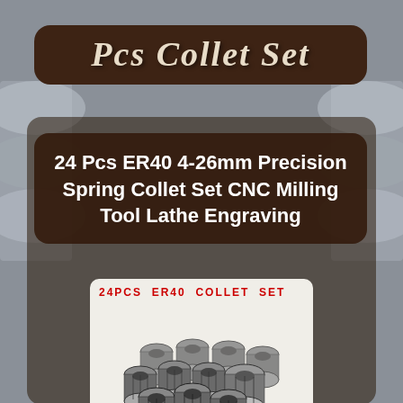Pcs Collet Set
24 Pcs ER40 4-26mm Precision Spring Collet Set CNC Milling Tool Lathe Engraving
[Figure (photo): Product photo showing a pile of 24 ER40 spring collets arranged together, with a label '24PCS ER40 COLLET SET' at the top in red text, and yellow storage case chips at the bottom right. The collets are metallic/steel colored, cylindrical with slotted sides.]